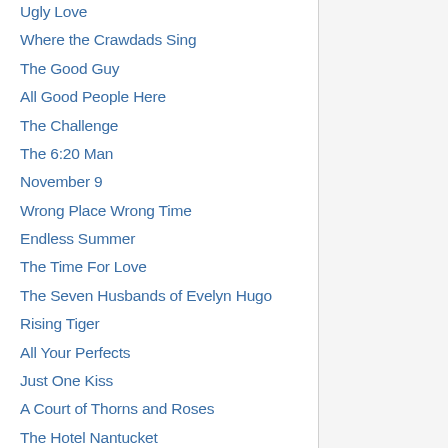Ugly Love
Where the Crawdads Sing
The Good Guy
All Good People Here
The Challenge
The 6:20 Man
November 9
Wrong Place Wrong Time
Endless Summer
The Time For Love
The Seven Husbands of Evelyn Hugo
Rising Tiger
All Your Perfects
Just One Kiss
A Court of Thorns and Roses
The Hotel Nantucket
Portrait of an Unknown Woman
The Daughter's Tale
Confess
The Cabin in the Woods
Local Girl Missing